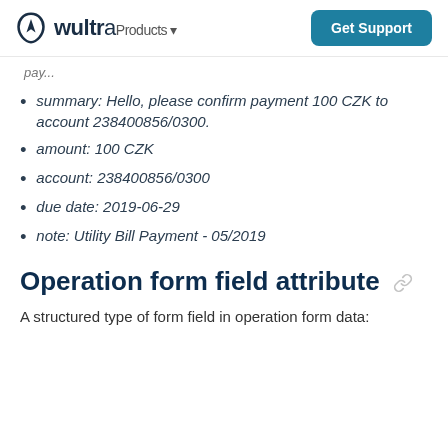wultra Products · Get Support
summary: Hello, please confirm payment 100 CZK to account 238400856/0300.
amount: 100 CZK
account: 238400856/0300
due date: 2019-06-29
note: Utility Bill Payment - 05/2019
Operation form field attribute
A structured type of form field in operation form data: